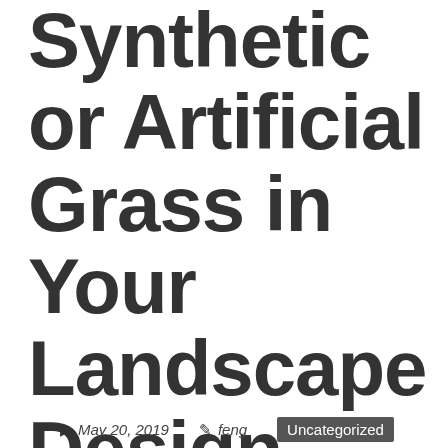Synthetic or Artificial Grass in Your Landscape Design
May 20, 2019  feng  Uncategorized